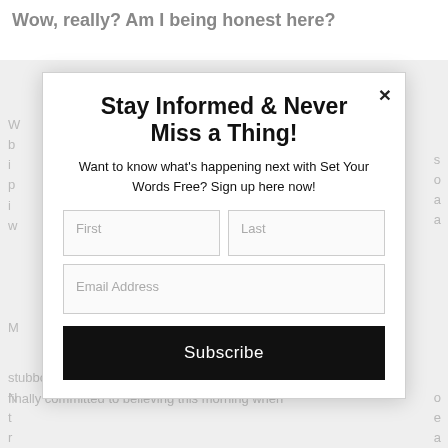Wow, really? Am I being honest here?
W
b
i
p
i
w
s
o
a
a
M
N
t
r
f
o
e
a
N
b
e
f
stubborn, worst has been since 2011 when she just finally committed to believing this morning when
[Figure (screenshot): Modal popup overlay with newsletter subscription form. Title: 'Stay Informed & Never Miss a Thing!'. Subtitle: 'Want to know what's happening next with Set Your Words Free? Sign up here now!'. Form fields: First name, Last name, Email Address. Subscribe button (black). Close X button top right.]